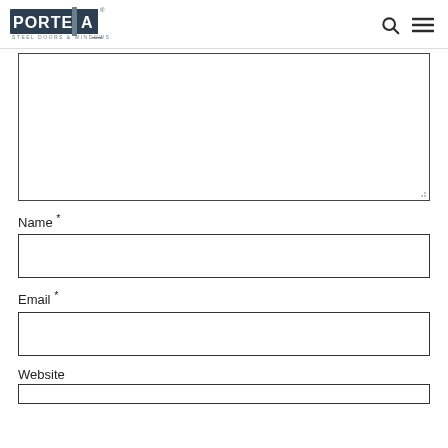PORTEIA STEEL DOORS & WINDOWS
[Figure (screenshot): Comment form with textarea, Name, Email, and Website input fields]
Name *
Email *
Website